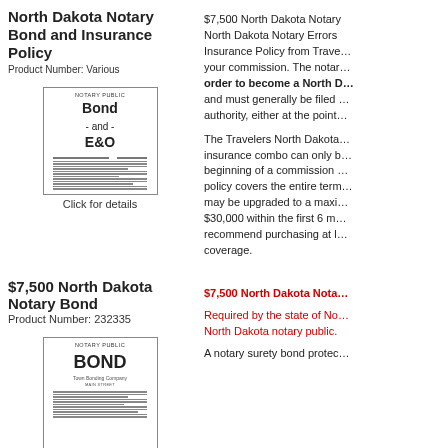North Dakota Notary Bond and Insurance Policy
Product Number: Various
[Figure (illustration): Notary Public Bond and E&O document image with text 'NOTARY PUBLIC' at top, 'Bond - and - E&O' in large bold text, followed by lines of small print]
Click for details
$7,500 North Dakota Notary … North Dakota Notary Errors … Insurance Policy from Trave… your commission. The notar… order to become a North D… and must generally be filed … authority, either at the point…

The Travelers North Dakota… insurance combo can only b… beginning of a commission … policy covers the entire term… may be upgraded to a maxi… $30,000 within the first 6 m… recommend purchasing at l… coverage.
$7,500 North Dakota Notary Bond
Product Number: 232335
[Figure (illustration): Notary Public Bond document image with 'NOTARY PUBLIC' at top, 'BOND' in large bold text, 'Town Bonding Company' text below, followed by lines of small print]
$7,500 North Dakota Nota…
Required by the state of No… North Dakota notary public.
A notary surety bond protec…